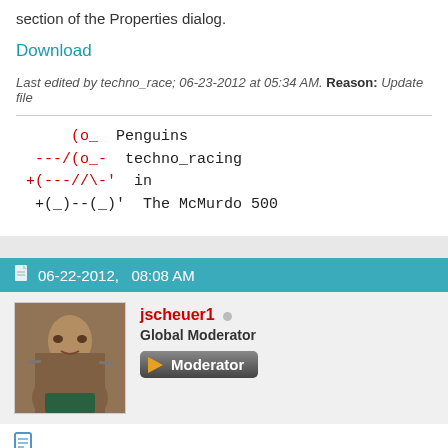section of the Properties dialog.
Download
Last edited by techno_race; 06-23-2012 at 05:34 AM. Reason: Update file
(o_  Penguins
 ---/(o_-  techno_racing
+(---//\-'  in
 +(_)--(_)'  The McMurdo 500
06-22-2012,   08:08 AM
jscheuer1
Global Moderator
Moderator